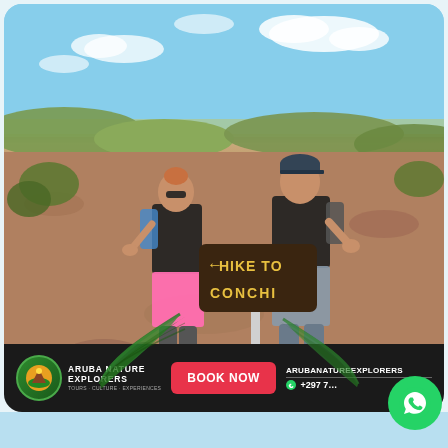[Figure (photo): Two hikers standing next to a 'Hike to Conchi' trail sign in rocky, semi-arid landscape of Aruba under partly cloudy blue sky. Woman in pink shorts and black tank top on left, man in grey shorts and black shirt on right, both giving thumbs up.]
HIKE TO CONCHI
[Figure (logo): Aruba Nature Explorers logo: circular green emblem with mountain/island imagery, text 'ARUBA NATURE EXPLORERS' in white bold uppercase, tagline 'TOURS · CULTURE · EXPERIENCES' in small grey text]
BOOK NOW
ARUBANATUREEXPLORERS +297 7...